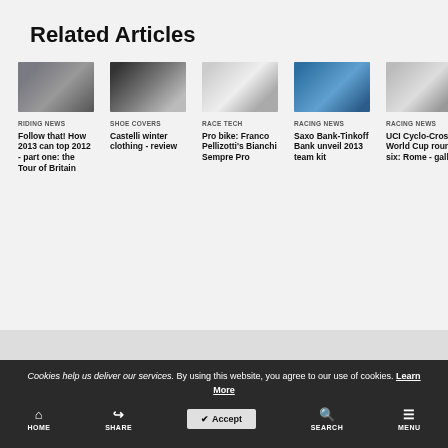Related Articles
[Figure (photo): Cycling riders on street, related article thumbnail]
[Figure (photo): Red bicycle leaning against wall, related article thumbnail]
[Figure (photo): Pro road bike, Bianchi, related article thumbnail]
[Figure (photo): Cyclist in blue jersey, related article thumbnail]
[Figure (photo): Cyclists racing in wet conditions, related article thumbnail]
RIDING NEWS
Follow that! How 2013 can top 2012 - part one: the Tour of Britain
SHOE COVERS
Castelli winter clothing - review
RACE TECH
Pro bike: Franco Pellizotti's Bianchi Sempre Pro
RACING NEWS
Saxo Bank-Tinkoff Bank unveil 2013 team kit
RACING NEWS
UCI Cyclo-Cross World Cup round six: Rome - gallery
Cookies help us deliver our services. By using this website, you agree to our use of cookies. Learn More
HOME    SHARE    Accept    SEARCH    MENU